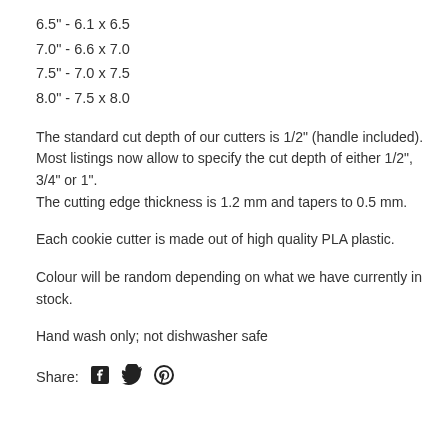6.5" - 6.1 x 6.5
7.0" - 6.6 x 7.0
7.5" - 7.0 x 7.5
8.0" - 7.5 x 8.0
The standard cut depth of our cutters is 1/2" (handle included). Most listings now allow to specify the cut depth of either 1/2", 3/4" or 1". The cutting edge thickness is 1.2 mm and tapers to 0.5 mm.
Each cookie cutter is made out of high quality PLA plastic.
Colour will be random depending on what we have currently in stock.
Hand wash only; not dishwasher safe
Share: